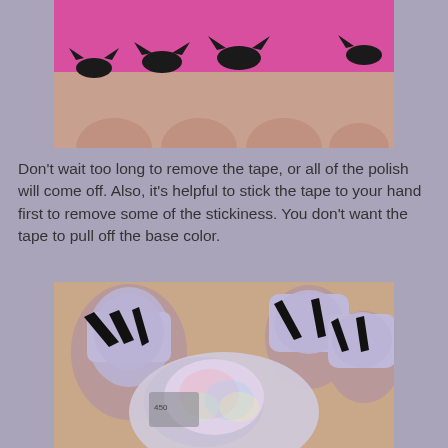[Figure (photo): Close-up photo of fingernails with pink tape applied and black bat-shaped nail art designs peeking above the tape edge]
Don't wait too long to remove the tape, or all of the polish will come off.  Also, it's helpful to stick the tape to your hand first to remove some of the stickiness.  You don't want the tape to pull off the base color.
[Figure (photo): Close-up photo of fingernails with holographic/iridescent purple nail polish and black geometric tape-manicure designs, with a nail polish bottle in the foreground]